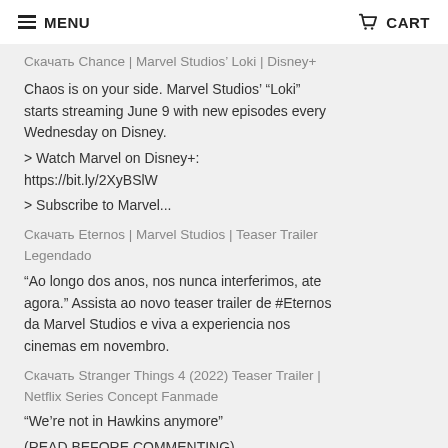MENU   CART
Скачать Chance | Marvel Studios' Loki | Disney+
Chaos is on your side. Marvel Studios' "Loki" starts streaming June 9 with new episodes every Wednesday on Disney.
> Watch Marvel on Disney+:
https://bit.ly/2XyBSlW
> Subscribe to Marvel...
Скачать Eternos | Marvel Studios | Teaser Trailer Legendado
"Ao longo dos anos, nos nunca interferimos, ate agora." Assista ao novo teaser trailer de #Eternos da Marvel Studios e viva a experiencia nos cinemas em novembro.
Скачать Stranger Things 4 (2022) Teaser Trailer | Netflix Series Concept Fanmade
"We're not in Hawkins anymore"
(READ BEFORE COMMENTING)